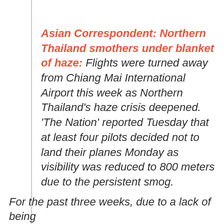Asian Correspondent: Northern Thailand smothers under blanket of haze: Flights were turned away from Chiang Mai International Airport this week as Northern Thailand's haze crisis deepened. 'The Nation' reported Tuesday that at least four pilots decided not to land their planes Monday as visibility was reduced to 800 meters due to the persistent smog.
For the past three weeks, due to a lack of being